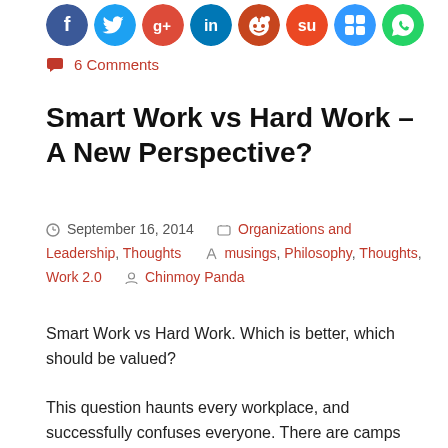[Figure (illustration): Row of 8 social media share icons: Facebook (blue), Twitter (light blue), Google+ (red), LinkedIn (blue), Reddit (orange-red), StumbleUpon (red), Delicious (blue squares), WhatsApp (green)]
6 Comments
Smart Work vs Hard Work – A New Perspective?
September 16, 2014   Organizations and Leadership, Thoughts   musings, Philosophy, Thoughts, Work 2.0   Chinmoy Panda
Smart Work vs Hard Work. Which is better, which should be valued?
This question haunts every workplace, and successfully confuses everyone. There are camps and devotees of either